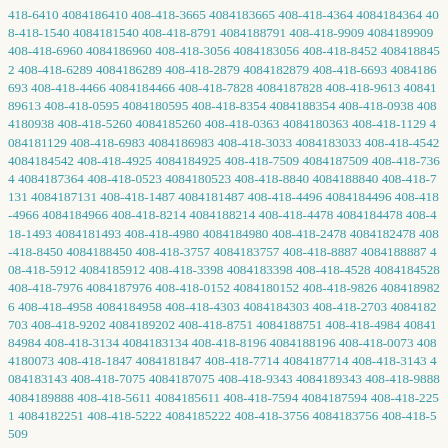418-6410 4084186410 408-418-3665 4084183665 408-418-4364 4084184364 408-418-1540 4084181540 408-418-8791 4084188791 408-418-9909 4084189909 408-418-6960 4084186960 408-418-3056 4084183056 408-418-8452 4084188452 408-418-6289 4084186289 408-418-2879 4084182879 408-418-6693 4084186693 408-418-4466 4084184466 408-418-7828 4084187828 408-418-9613 4084189613 408-418-0595 4084180595 408-418-8354 4084188354 408-418-0938 4084180938 408-418-5260 4084185260 408-418-0363 4084180363 408-418-1129 4084181129 408-418-6983 4084186983 408-418-3033 4084183033 408-418-4542 4084184542 408-418-4925 4084184925 408-418-7509 4084187509 408-418-7364 4084187364 408-418-0523 4084180523 408-418-8840 4084188840 408-418-7131 4084187131 408-418-1487 4084181487 408-418-4496 4084184496 408-418-4966 4084184966 408-418-8214 4084188214 408-418-4478 4084184478 408-418-1493 4084181493 408-418-4980 4084184980 408-418-2478 4084182478 408-418-8450 4084188450 408-418-3757 4084183757 408-418-8887 4084188887 408-418-5912 4084185912 408-418-3398 4084183398 408-418-4528 4084184528 408-418-7976 4084187976 408-418-0152 4084180152 408-418-9826 4084189826 408-418-4958 4084184958 408-418-4303 4084184303 408-418-2703 4084182703 408-418-9202 4084189202 408-418-8751 4084188751 408-418-4984 4084184984 408-418-3134 4084183134 408-418-8196 4084188196 408-418-0073 4084180073 408-418-1847 4084181847 408-418-7714 4084187714 408-418-3143 4084183143 408-418-7075 4084187075 408-418-9343 4084189343 408-418-9888 4084189888 408-418-5611 4084185611 408-418-7594 4084187594 408-418-2251 4084182251 408-418-5222 4084185222 408-418-3756 4084183756 408-418-5509